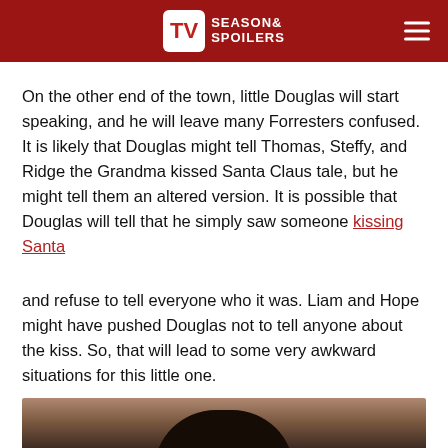TV SEASON& SPOILERS
On the other end of the town, little Douglas will start speaking, and he will leave many Forresters confused. It is likely that Douglas might tell Thomas, Steffy, and Ridge the Grandma kissed Santa Claus tale, but he might tell them an altered version. It is possible that Douglas will tell that he simply saw someone kissing Santa
and refuse to tell everyone who it was. Liam and Hope might have pushed Douglas not to tell anyone about the kiss. So, that will lead to some very awkward situations for this little one.
[Figure (photo): Partial photo of a child with dark hair, visible from the top of the head, appearing to be sitting or leaning. Background is dark and muted.]